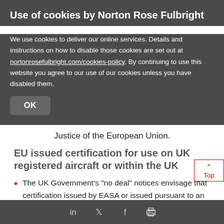Use of cookies by Norton Rose Fulbright
We use cookies to deliver our online services. Details and instructions on how to disable those cookies are set out at nortonrosefulbright.com/cookies-policy. By continuing to use this website you agree to our use of our cookies unless you have disabled them.
OK
Justice of the European Union.
EU issued certification for use on UK registered aircraft or within the UK
The UK Government's “no deal” notices envisage that certification issued by EASA or issued pursuant to an EASA or EU member state civil aviation authority approval will re... valid for use in the UK for a period of up to 2
LinkedIn Twitter Facebook Print